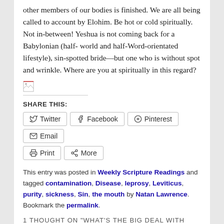other members of our bodies is finished. We are all being called to account by Elohim. Be hot or cold spiritually. Not in-between! Yeshua is not coming back for a Babylonian (half- world and half-Word-orientated lifestyle), sin-spotted bride—but one who is without spot and wrinkle. Where are you at spiritually in this regard?
[Figure (illustration): Small broken image icon]
SHARE THIS:
Twitter | Facebook | Pinterest | Email | Print | More (share buttons)
This entry was posted in Weekly Scripture Readings and tagged contamination, Disease, leprosy, Leviticus, purity, sickness, Sin, the mouth by Natan Lawrence. Bookmark the permalink.
1 THOUGHT ON "WHAT'S THE BIG DEAL WITH THE CONTAMINATION OF SIN?"